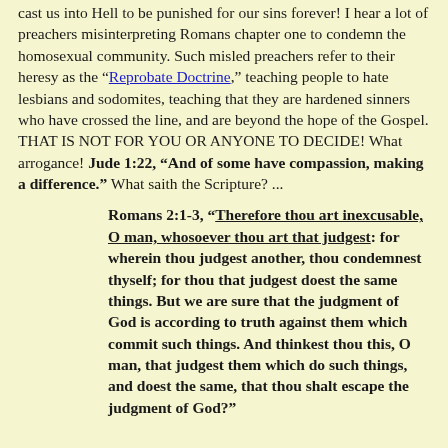cast us into Hell to be punished for our sins forever! I hear a lot of preachers misinterpreting Romans chapter one to condemn the homosexual community. Such misled preachers refer to their heresy as the “Reprobate Doctrine,” teaching people to hate lesbians and sodomites, teaching that they are hardened sinners who have crossed the line, and are beyond the hope of the Gospel. THAT IS NOT FOR YOU OR ANYONE TO DECIDE! What arrogance! Jude 1:22, “And of some have compassion, making a difference.” What saith the Scripture? ...
Romans 2:1-3, “Therefore thou art inexcusable, O man, whosoever thou art that judgest: for wherein thou judgest another, thou condemnest thyself; for thou that judgest doest the same things. But we are sure that the judgment of God is according to truth against them which commit such things. And thinkest thou this, O man, that judgest them which do such things, and doest the same, that thou shalt escape the judgment of God?”